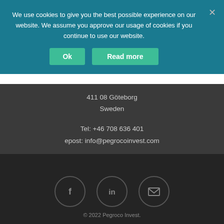We use cookies to give you the best possible experience on our website. We assume you approve our usage of cookies if you continue to use our website.
Ok
Read more
411 08 Göteborg
Sweden
Tel: +46 708 636 401
epost: info@pegrocoinvest.com
[Figure (illustration): Three circular social media icon buttons: Facebook (f), LinkedIn (in), and email/envelope icon, arranged in a row]
© 2022 Pegroco Invest.